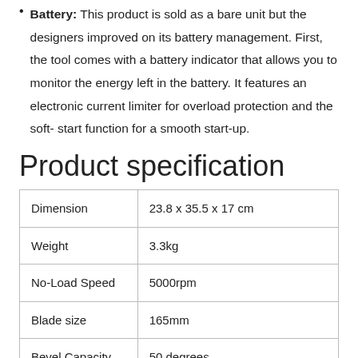Battery: This product is sold as a bare unit but the designers improved on its battery management. First, the tool comes with a battery indicator that allows you to monitor the energy left in the battery. It features an electronic current limiter for overload protection and the soft-start function for a smooth start-up.
Product specification
| Dimension | 23.8 x 35.5 x 17 cm |
| Weight | 3.3kg |
| No-Load Speed | 5000rpm |
| Blade size | 165mm |
| Bevel Capacity | 50 degrees |
| Maximum cutting | 90 degrees: 57mm, 45degrees: 41mm |